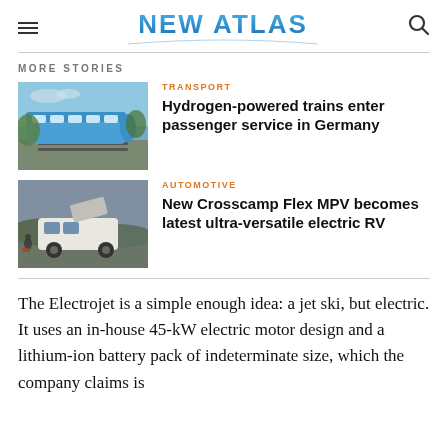NEW ATLAS
MORE STORIES
[Figure (photo): Blue hydrogen-powered passenger train on railway tracks]
TRANSPORT
Hydrogen-powered trains enter passenger service in Germany
[Figure (photo): White electric MPV/RV van with roof open in outdoor setting]
AUTOMOTIVE
New Crosscamp Flex MPV becomes latest ultra-versatile electric RV
The Electrojet is a simple enough idea: a jet ski, but electric. It uses an in-house 45-kW electric motor design and a lithium-ion battery pack of indeterminate size, which the company claims is